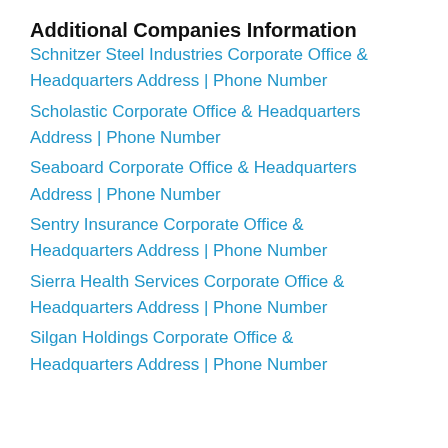Additional Companies Information
Schnitzer Steel Industries Corporate Office & Headquarters Address | Phone Number
Scholastic Corporate Office & Headquarters Address | Phone Number
Seaboard Corporate Office & Headquarters Address | Phone Number
Sentry Insurance Corporate Office & Headquarters Address | Phone Number
Sierra Health Services Corporate Office & Headquarters Address | Phone Number
Silgan Holdings Corporate Office & Headquarters Address | Phone Number